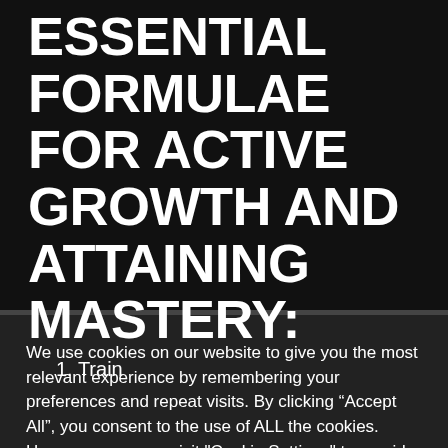ESSENTIAL FORMULAE FOR ACTIVE GROWTH AND ATTAINING MASTERY:
1. Train
We use cookies on our website to give you the most relevant experience by remembering your preferences and repeat visits. By clicking “Accept All”, you consent to the use of ALL the cookies. However, you may visit "Cookie Settings" to provide a controlled consent.